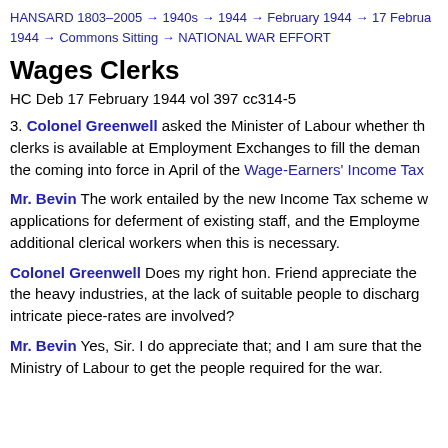HANSARD 1803–2005 → 1940s → 1944 → February 1944 → 17 February 1944 → Commons Sitting → NATIONAL WAR EFFORT
Wages Clerks
HC Deb 17 February 1944 vol 397 cc314-5
3. Colonel Greenwell asked the Minister of Labour whether the supply of wages clerks is available at Employment Exchanges to fill the demand that will arise on the coming into force in April of the Wage-Earners' Income Tax
Mr. Bevin The work entailed by the new Income Tax scheme will be covered by applications for deferment of existing staff, and the Employment Exchanges can place additional clerical workers when this is necessary.
Colonel Greenwell Does my right hon. Friend appreciate the difficulty felt in the heavy industries, at the lack of suitable people to discharge this duty where intricate piece-rates are involved?
Mr. Bevin Yes, Sir. I do appreciate that; and I am sure that the Ministry of Labour to get the people required for the war.